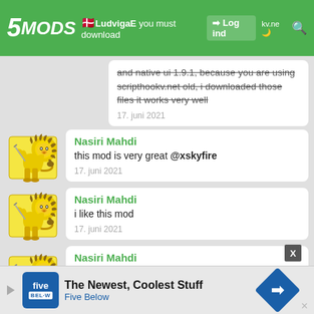5MODS | Log ind
and native ui 1.9.1, because you are using scripthookv.net old, i downloaded those files it works very well
17. juni 2021
Nasiri Mahdi
this mod is very great @xskyfire
17. juni 2021
Nasiri Mahdi
i like this mod
17. juni 2021
Nasiri Mahdi
i downloaded mod from felix cat before you it did not, you uploaded this mod it works very very well
The Newest, Coolest Stuff - Five Below